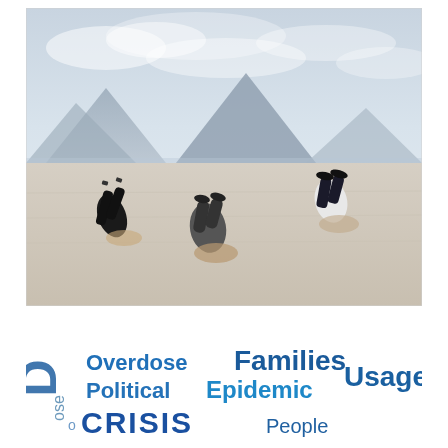[Figure (photo): Three people kneeling on a sandy beach/desert with their heads buried in the sand, wearing business attire. Mountains visible in the misty background.]
[Figure (infographic): Word cloud / tag cloud with opioid/drug crisis related terms: 'Overdose', 'Families', 'Political', 'Epidemic', 'Usage', 'Dose', 'CRISIS', 'People' in various blue shades and orientations]